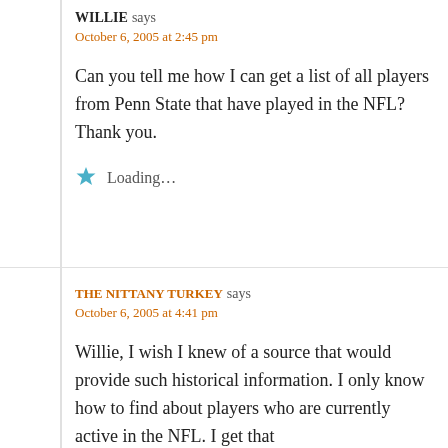WILLIE says
October 6, 2005 at 2:45 pm
Can you tell me how I can get a list of all players from Penn State that have played in the NFL? Thank you.
Loading...
THE NITTANY TURKEY says
October 6, 2005 at 4:41 pm
Willie, I wish I knew of a source that would provide such historical information. I only know how to find about players who are currently active in the NFL. I get that